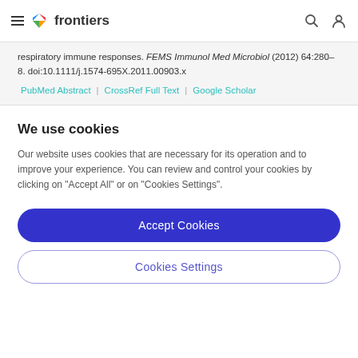frontiers
respiratory immune responses. FEMS Immunol Med Microbiol (2012) 64:280–8. doi:10.1111/j.1574-695X.2011.00903.x
PubMed Abstract | CrossRef Full Text | Google Scholar
We use cookies
Our website uses cookies that are necessary for its operation and to improve your experience. You can review and control your cookies by clicking on "Accept All" or on "Cookies Settings".
Accept Cookies
Cookies Settings